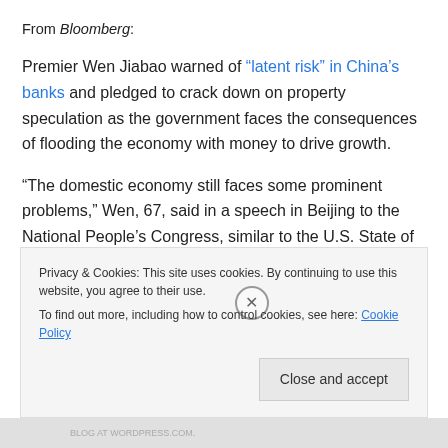From Bloomberg:
Premier Wen Jiabao warned of “latent risk” in China’s banks and pledged to crack down on property speculation as the government faces the consequences of flooding the economy with money to drive growth.
“The domestic economy still faces some prominent problems,” Wen, 67, said in a speech in Beijing to the National People’s Congress, similar to the U.S. State of the Union address. He also cited excess capacity in
Privacy & Cookies: This site uses cookies. By continuing to use this website, you agree to their use.
To find out more, including how to control cookies, see here: Cookie Policy
Close and accept